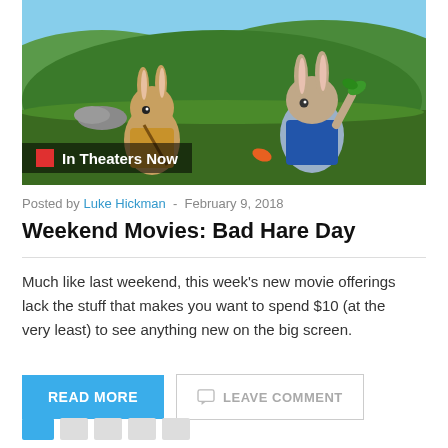[Figure (photo): Movie still from Peter Rabbit showing animated rabbits in a green countryside field with 'In Theaters Now' badge overlay]
Posted by Luke Hickman - February 9, 2018
Weekend Movies: Bad Hare Day
Much like last weekend, this week’s new movie offerings lack the stuff that makes you want to spend $10 (at the very least) to see anything new on the big screen.
READ MORE
LEAVE COMMENT